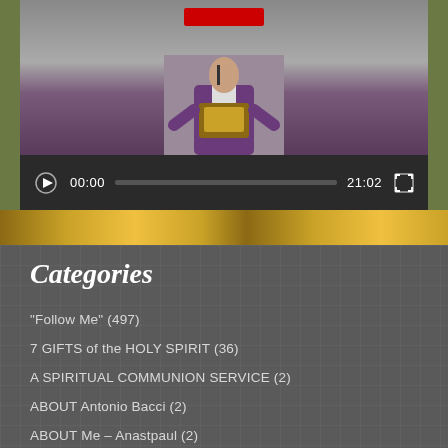[Figure (screenshot): Video player showing a person in religious vestments at a lectern. Controls show play button, timestamp 00:00, progress bar, duration 21:02, and fullscreen button. Background is olive green.]
Categories
"Follow Me" (497)
7 GIFTS of the HOLY SPIRIT (36)
A SPIRITUAL COMMUNION SERVICE (2)
ABOUT Antonio Bacci (2)
ABOUT Me – Anastpaul (2)
ACT of CONTRITION (4)